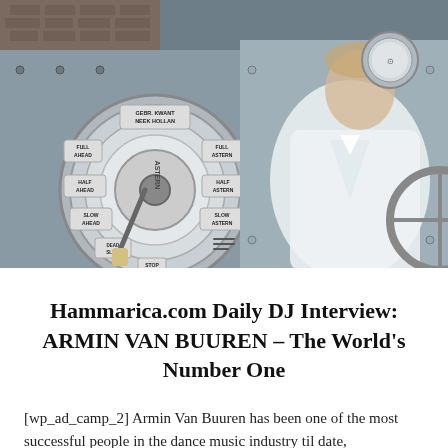[Figure (photo): Photo of Armin van Buuren in a white suit standing next to a large ship telegraph/helm wheel mechanism in a metal industrial setting. The telegraph wheel shows labels: GEBR. KWANT NEEK HOLLAN, FULL AHEAD, FULL ASTERN, HALF AHEAD, HALF ASTERN, SLOW AHEAD, SLOW ASTERN, DEAD SLOW, STOP. A man in white suit looks to the right.]
Hammarica.com Daily DJ Interview: ARMIN VAN BUUREN – The World's Number One
[wp_ad_camp_2] Armin Van Buuren has been one of the most successful people in the dance music industry til date,